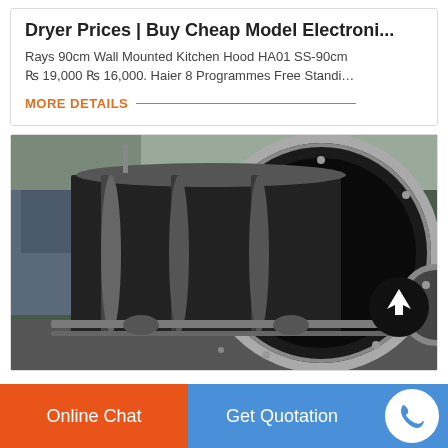Dryer Prices | Buy Cheap Model Electroni...
Rays 90cm Wall Mounted Kitchen Hood HA01 SS-90cm ₨ 19,000 ₨ 16,000. Haier 8 Programmes Free Standi…
MORE DETAILS
[Figure (photo): Industrial rotary dryer cylinder viewed from the front opening, large black metal drum on industrial rails, outdoor industrial setting with building in background. Arrow up button overlay in bottom right.]
Online Chat
Get Quotation